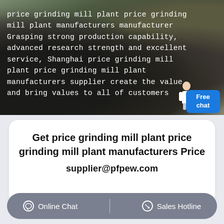[Figure (photo): Aerial/ground-level photo of an open-pit mining site with heavy machinery (excavator) operating on rocky grey terrain, serving as a hero background image.]
price grinding mill plant price grinding mill plant manufacturers manufacturer Grasping strong production capability, advanced research strength and excellent service, Shanghai price grinding mill plant price grinding mill plant manufacturers supplier create the value and bring values to all of customers
Free chat
Get price grinding mill plant price grinding mill plant manufacturers Price
supplier@pfpew.com
Online Chat  |  Sales Hotline